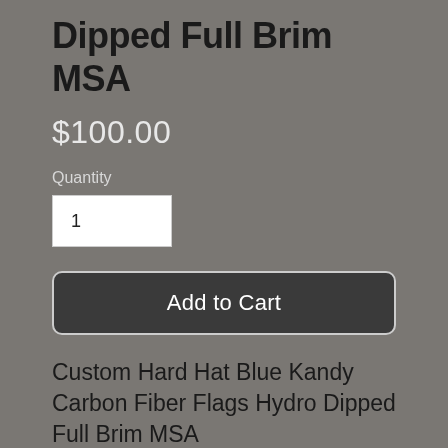Dipped Full Brim MSA
$100.00
Quantity
1
Add to Cart
Custom Hard Hat Blue Kandy Carbon Fiber Flags Hydro Dipped Full Brim MSA
The MSA V-Gard Helmet,